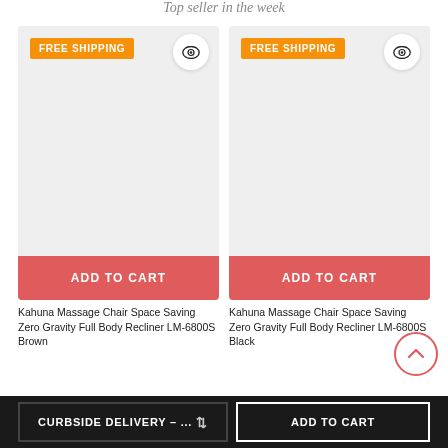Top seller in the week
[Figure (other): Product card 1: massage chair with FREE SHIPPING badge and eye icon, gray image area, red ADD TO CART button]
[Figure (other): Product card 2: massage chair with FREE SHIPPING badge and eye icon, gray image area, red ADD TO CART button]
Kahuna Massage Chair Space Saving Zero Gravity Full Body Recliner LM-6800S Brown
Kahuna Massage Chair Space Saving Zero Gravity Full Body Recliner LM-6800S Black
CURBSIDE DELIVERY – ...
ADD TO CART